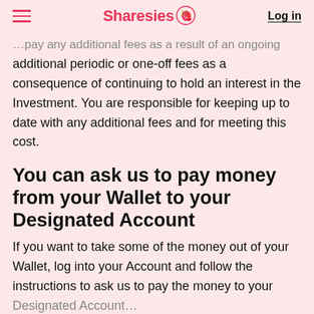Sharesies | Log in
additional periodic or one-off fees as a consequence of continuing to hold an interest in the Investment. You are responsible for keeping up to date with any additional fees and for meeting this cost.
You can ask us to pay money from your Wallet to your Designated Account
If you want to take some of the money out of your Wallet, log into your Account and follow the instructions to ask us to pay the money to your Designated Account.